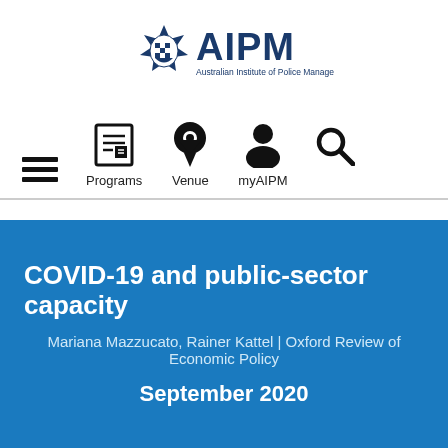[Figure (logo): AIPM (Australian Institute of Police Management) logo with star badge emblem and text]
[Figure (infographic): Navigation bar with hamburger menu icon, Programs icon (document), Venue icon (map pin), myAIPM icon (person), and Search icon (magnifying glass)]
COVID-19 and public-sector capacity
Mariana Mazzucato, Rainer Kattel | Oxford Review of Economic Policy
September 2020